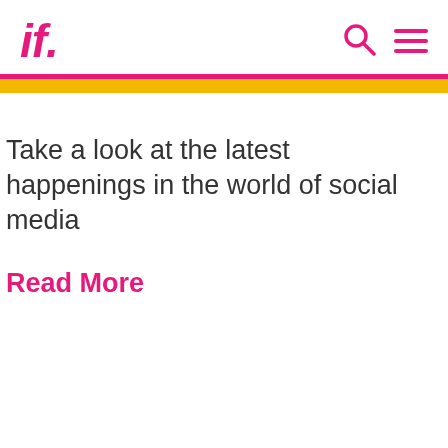if.
Take a look at the latest happenings in the world of social media
Read More